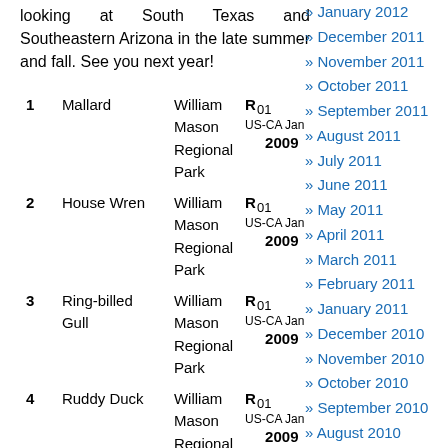looking at South Texas and Southeastern Arizona in the late summer and fall. See you next year!
| # | Bird | Location | Code |
| --- | --- | --- | --- |
| 1 | Mallard | William Mason Regional Park | R 01 US-CA Jan 2009 |
| 2 | House Wren | William Mason Regional Park | R 01 US-CA Jan 2009 |
| 3 | Ring-billed Gull | William Mason Regional Park | R 01 US-CA Jan 2009 |
| 4 | Ruddy Duck | William Mason Regional | R 01 US-CA Jan 2009 |
January 2012
December 2011
November 2011
October 2011
September 2011
August 2011
July 2011
June 2011
May 2011
April 2011
March 2011
February 2011
January 2011
December 2010
November 2010
October 2010
September 2010
August 2010
July 2010
June 2010